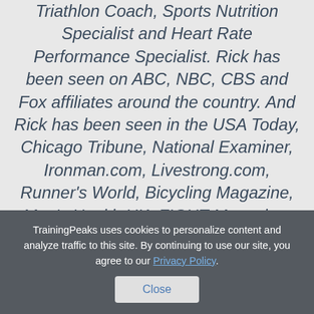Triathlon Coach, Sports Nutrition Specialist and Heart Rate Performance Specialist. Rick has been seen on ABC, NBC, CBS and Fox affiliates around the country. And Rick has been seen in the USA Today, Chicago Tribune, National Examiner, Ironman.com, Livestrong.com, Runner's World, Bicycling Magazine, Men's Health UK, FIGHT Magazine, Florida Cycling Magazine, Pace
TrainingPeaks uses cookies to personalize content and analyze traffic to this site. By continuing to use our site, you agree to our Privacy Policy.